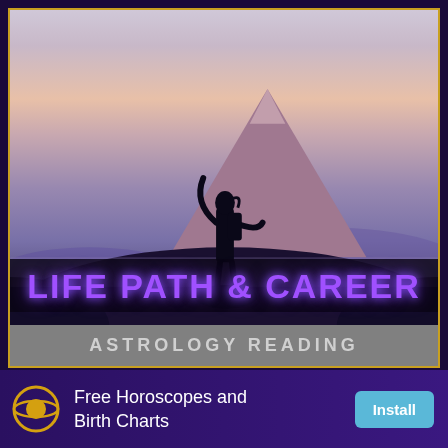[Figure (photo): A silhouetted person with arms raised and a backpack standing on a hilltop, with a large volcanic mountain (Mt. Fuji style) in the background at dusk/dawn. Purple and pink gradient sky. Text overlay: 'LIFE PATH & CAREER' in glowing purple and 'ASTROLOGY READING' in grey below.]
Free Horoscopes and Birth Charts
Install